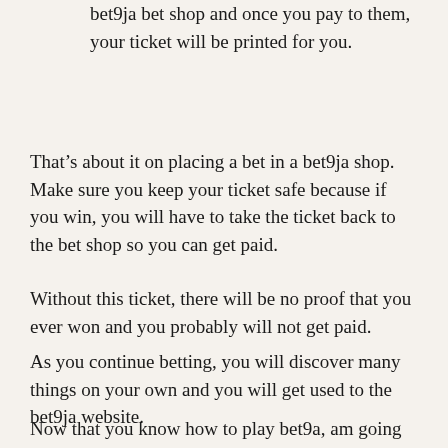You will need to take this booking code to a bet9ja bet shop and once you pay to them, your ticket will be printed for you.
That’s about it on placing a bet in a bet9ja shop. Make sure you keep your ticket safe because if you win, you will have to take the ticket back to the bet shop so you can get paid.
Without this ticket, there will be no proof that you ever won and you probably will not get paid.
As you continue betting, you will discover many things on your own and you will get used to the bet9ja website.
Now that you know how to play bet9a, am going to